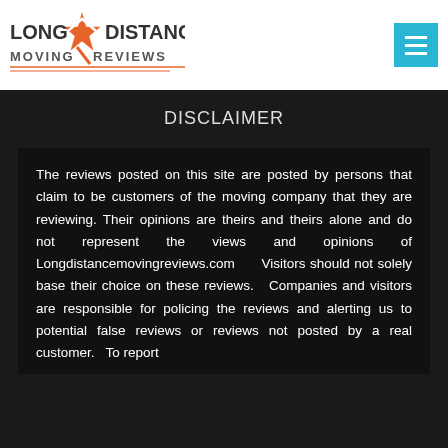[Figure (logo): Long Distance Moving Reviews logo with orange star and text]
DISCLAIMER
The reviews posted on this site are posted by persons that claim to be customers of the moving company that they are reviewing. Their opinions are theirs and theirs alone and do not represent the views and opinions of Longdistancemovingreviews.com Visitors should not solely base their choice on these reviews. Companies and visitors are responsible for policing the reviews and alerting us to potential false reviews or reviews not posted by a real customer. To report